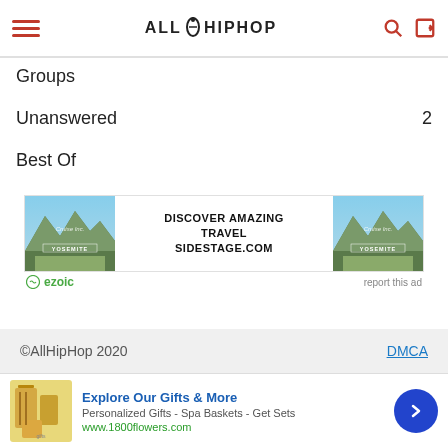AllHipHop
Groups
Unanswered  2
Best Of
[Figure (other): Advertisement banner: Discover Amazing Travel Sidestage.com, with Yosemite mountain images on left and right, ezoic branding below]
©AllHipHop 2020   DMCA
[Figure (other): Bottom advertisement: Explore Our Gifts & More - Personalized Gifts - Spa Baskets - Get Sets, www.1800flowers.com, with floral gift product image]